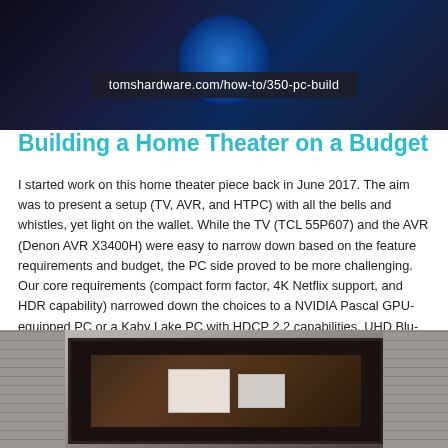[Figure (photo): Top banner image showing a glowing blue PC build or computer case against a dark background, with a URL overlay reading tomshardware.com/how-to/350-pc-build]
Building a Home Theater on a Budget
I started work on this home theater piece back in June 2017. The aim was to present a setup (TV, AVR, and HTPC) with all the bells and whistles, yet light on the wallet. While the TV (TCL 55P607) and the AVR (Denon AVR X3400H) were easy to narrow down based on the feature requirements and budget, the PC side proved to be more challenging. Our core requirements (compact form factor, 4K Netflix support, and HDR capability) narrowed down the choices to a NVIDIA Pascal GPU-equipped PC or a Kaby Lake PC with HDCP 2.2 capabilities. UHD Blu-ray support further narrowed this down to certain Kaby Lake PCs with a HDMI 2.0 / HDCP 2.2 display output.
[Figure (photo): Bottom photo showing a home theater setup with a TV on a fireplace mantle or entertainment center, with devices/boxes visible, mounted against a stone or brick wall texture]